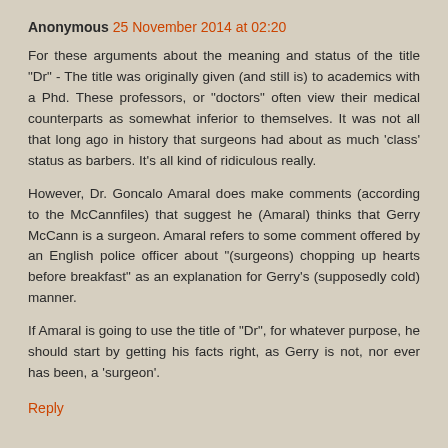Anonymous 25 November 2014 at 02:20
For these arguments about the meaning and status of the title "Dr" - The title was originally given (and still is) to academics with a Phd. These professors, or "doctors" often view their medical counterparts as somewhat inferior to themselves. It was not all that long ago in history that surgeons had about as much 'class' status as barbers. It's all kind of ridiculous really.
However, Dr. Goncalo Amaral does make comments (according to the McCannfiles) that suggest he (Amaral) thinks that Gerry McCann is a surgeon. Amaral refers to some comment offered by an English police officer about "(surgeons) chopping up hearts before breakfast" as an explanation for Gerry's (supposedly cold) manner.
If Amaral is going to use the title of "Dr", for whatever purpose, he should start by getting his facts right, as Gerry is not, nor ever has been, a 'surgeon'.
Reply